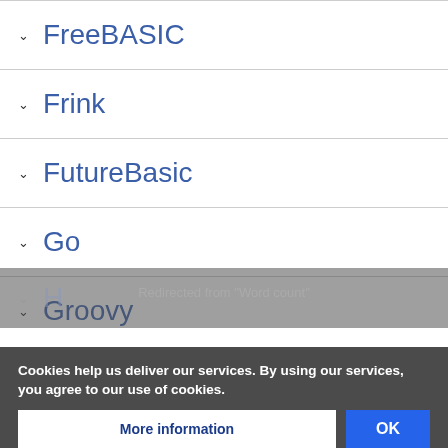FreeBASIC
Frink
FutureBasic
Go
Groovy
Cookies help us deliver our services. By using our services, you agree to our use of cookies.
More information
OK